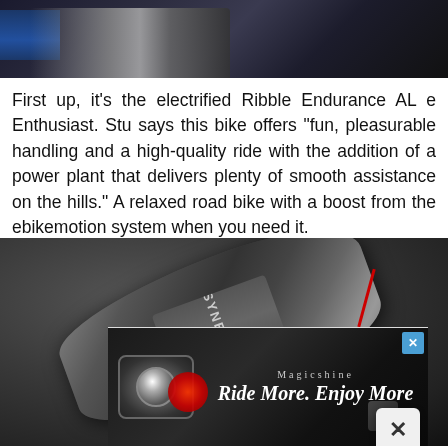[Figure (photo): Close-up photo of bicycle components, dark tones with blue and metallic accents]
First up, it's the electrified Ribble Endurance AL e Enthusiast. Stu says this bike offers "fun, pleasurable handling and a high-quality ride with the addition of a power plant that delivers plenty of smooth assistance on the hills." A relaxed road bike with a boost from the ebikemotion system when you need it.
[Figure (photo): Product photo of a cycling lubricant or liquid bottle (branded SYNERGEL or similar) on a dark gray background. An advertisement overlay shows Magicshine 'RideMore. Enjoy More' banner with front and rear bike lights.]